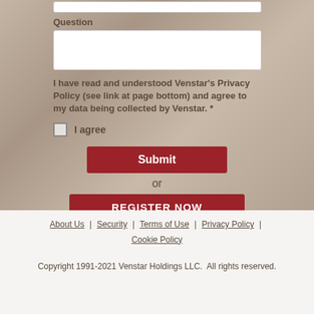Question
I have read and understood Venstar's Privacy Policy (see link at page bottom) and agree to my data being collected by Venstar. *
I agree
Submit
or
REGISTER NOW
About Us | Security | Terms of Use | Privacy Policy | Cookie Policy
Copyright 1991-2021 Venstar Holdings LLC.  All rights reserved.